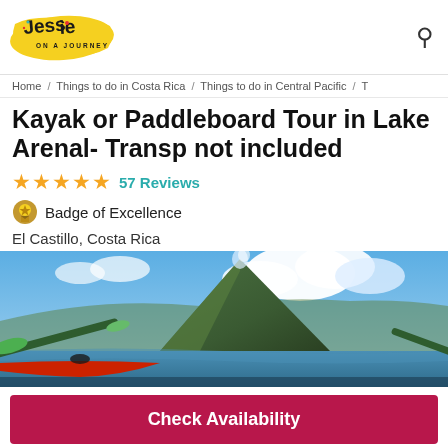[Figure (logo): Jessie On A Journey logo - handwritten style text on yellow brushstroke background]
Home / Things to do in Costa Rica / Things to do in Central Pacific / T
Kayak or Paddleboard Tour in Lake Arenal- Transp not included
★★★★★ 57 Reviews
Badge of Excellence
El Castillo, Costa Rica
[Figure (photo): People kayaking on Lake Arenal with Arenal Volcano in the background under a blue sky with clouds]
Check Availability